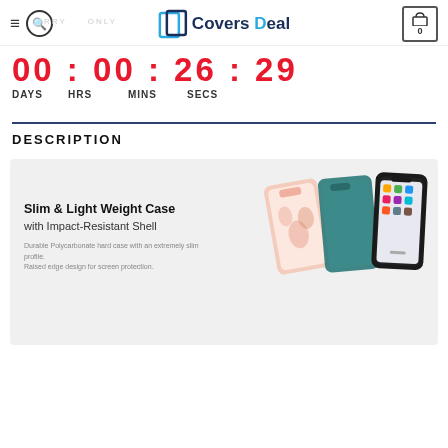Covers Deal
00 : 00 : 26 : 29
DAYS   HRS   MINS   SECS
DESCRIPTION
[Figure (photo): Product promotional image showing three iPhone cases: a floral pink case, a dark teal case, and a clear case on a phone, with text 'Slim & Light Weight Case with Impact-Resistant Shell' and description 'Durable Polycarbonate hard case with an extremely slim profile. Raised edge design for screen protection.']